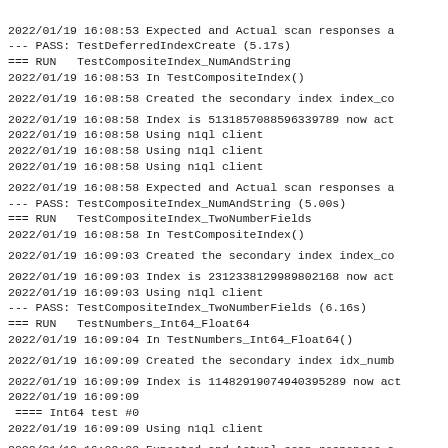2022/01/19 16:08:53 Expected and Actual scan responses a
--- PASS: TestDeferredIndexCreate (5.17s)
=== RUN   TestCompositeIndex_NumAndString
2022/01/19 16:08:53 In TestCompositeIndex()
2022/01/19 16:08:58 Created the secondary index index_co
2022/01/19 16:08:58 Index is 5131857088596339789 now act
2022/01/19 16:08:58 Using n1ql client
2022/01/19 16:08:58 Using n1ql client
2022/01/19 16:08:58 Using n1ql client
2022/01/19 16:08:58 Expected and Actual scan responses a
--- PASS: TestCompositeIndex_NumAndString (5.00s)
=== RUN   TestCompositeIndex_TwoNumberFields
2022/01/19 16:08:58 In TestCompositeIndex()
2022/01/19 16:09:03 Created the secondary index index_co
2022/01/19 16:09:03 Index is 2312338129989802168 now act
2022/01/19 16:09:03 Using n1ql client
--- PASS: TestCompositeIndex_TwoNumberFields (6.16s)
=== RUN   TestNumbers_Int64_Float64
2022/01/19 16:09:04 In TestNumbers_Int64_Float64()
2022/01/19 16:09:09 Created the secondary index idx_numb
2022/01/19 16:09:09 Index is 11482919074940395289 now act
2022/01/19 16:09:09
 ==== Int64 test #0
2022/01/19 16:09:09 Using n1ql client
2022/01/19 16:09:09 Expected and Actual scan responses a
2022/01/19 16:09:09
 ==== Int64 test #1
2022/01/19 16:09:09 Using n1ql client
2022/01/19 16:09:09 Expected and Actual scan responses a
2022/01/19 16:09:09